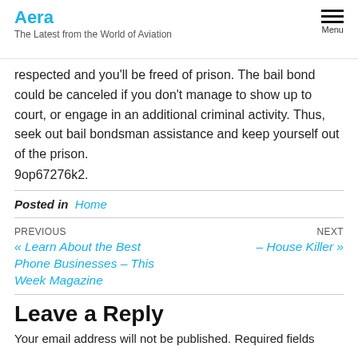Aera
The Latest from the World of Aviation
respected and you'll be freed of prison. The bail bond could be canceled if you don't manage to show up to court, or engage in an additional criminal activity. Thus, seek out bail bondsman assistance and keep yourself out of the prison.
9op67276k2.
Posted in  Home
PREVIOUS
« Learn About the Best Phone Businesses – This Week Magazine
NEXT
– House Killer »
Leave a Reply
Your email address will not be published. Required fields